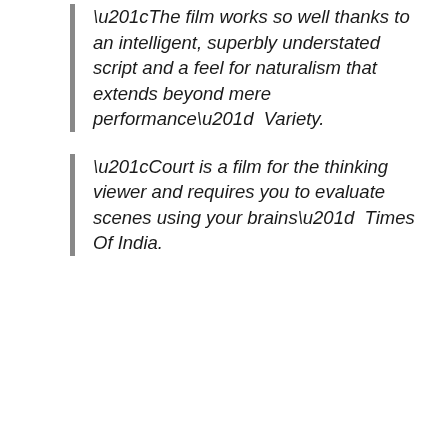“The film works so well thanks to an intelligent, superbly understated script and a feel for naturalism that extends beyond mere performance”  Variety.
“Court is a film for the thinking viewer and requires you to evaluate scenes using your brains”  Times Of India.